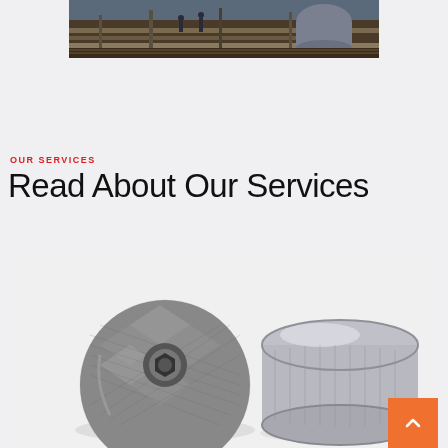[Figure (photo): Industrial workshop photo showing steel beams/rails on a factory floor with workers and large cylindrical tank in background]
OUR SERVICES
Read About Our Services
[Figure (photo): Close-up photo of industrial metal parts - a textured spherical component and a polished metallic flange/cap, on white background]